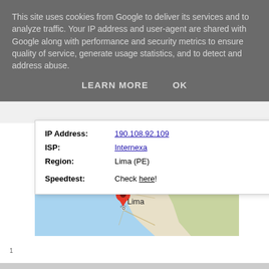This site uses cookies from Google to deliver its services and to analyze traffic. Your IP address and user-agent are shared with Google along with performance and security metrics to ensure quality of service, generate usage statistics, and to detect and address abuse.
LEARN MORE   OK
| IP Address: | 190.108.92.109 |
| ISP: | Internexa |
| Region: | Lima (PE) |
| Speedtest: | Check here! |
[Figure (map): Google Maps showing Peru with a red location pin on Lima along the Pacific coast. The label 'Pérou' appears in large text over the country.]
1